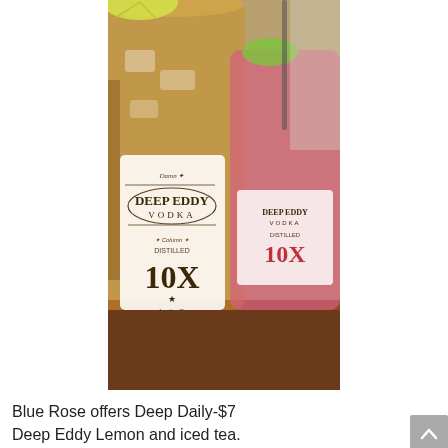[Figure (photo): Two large mason jar glasses with Deep Eddy Vodka branding and '10X distilled' label. One contains iced tea/lemon cocktail with lemon wedge garnish, the other contains a pink/red cocktail with lime wedge garnish, set on a wooden table in a bar setting.]
Blue Rose offers Deep Daily-$7 Deep Eddy Lemon and iced tea.
Location: 1924 Riverside Dr, Tulsa, OK 74119
Read more
Categories: Drink Deals Deals Tags: Late Nite Drinks Date Night